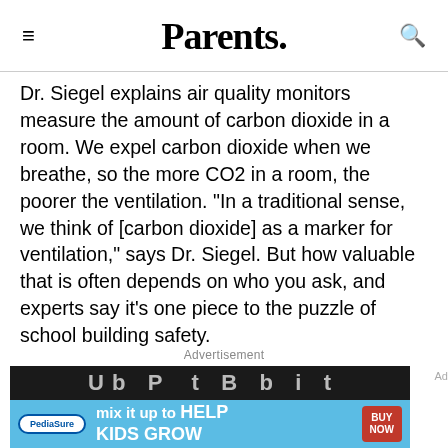Parents.
Dr. Siegel explains air quality monitors measure the amount of carbon dioxide in a room. We expel carbon dioxide when we breathe, so the more CO2 in a room, the poorer the ventilation. "In a traditional sense, we think of [carbon dioxide] as a marker for ventilation," says Dr. Siegel. But how valuable that is often depends on who you ask, and experts say it's one piece to the puzzle of school building safety.
Advertisement
[Figure (screenshot): Advertisement banner for PediaSure: dark top bar with partially visible text, blue bottom bar with PediaSure logo, text 'mix it up to HELP KIDS GROW', and a red BUY NOW button.]